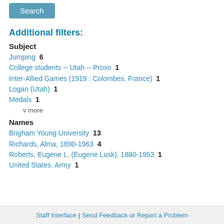Search
Additional filters:
Subject
Jumping  6
College students -- Utah -- Provo  1
Inter-Allied Games (1919 : Colombes, France)  1
Logan (Utah)  1
Medals  1
v more
Names
Brigham Young University  13
Richards, Alma, 1890-1963  4
Roberts, Eugene L. (Eugene Lusk), 1880-1953  1
United States. Army  1
Staff Interface | Send Feedback or Report a Problem